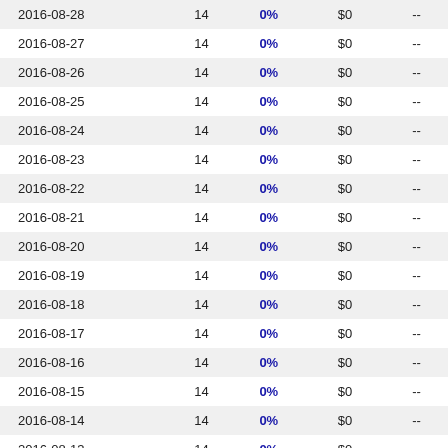| 2016-08-28 | 14 | 0% | $0 | -- |
| 2016-08-27 | 14 | 0% | $0 | -- |
| 2016-08-26 | 14 | 0% | $0 | -- |
| 2016-08-25 | 14 | 0% | $0 | -- |
| 2016-08-24 | 14 | 0% | $0 | -- |
| 2016-08-23 | 14 | 0% | $0 | -- |
| 2016-08-22 | 14 | 0% | $0 | -- |
| 2016-08-21 | 14 | 0% | $0 | -- |
| 2016-08-20 | 14 | 0% | $0 | -- |
| 2016-08-19 | 14 | 0% | $0 | -- |
| 2016-08-18 | 14 | 0% | $0 | -- |
| 2016-08-17 | 14 | 0% | $0 | -- |
| 2016-08-16 | 14 | 0% | $0 | -- |
| 2016-08-15 | 14 | 0% | $0 | -- |
| 2016-08-14 | 14 | 0% | $0 | -- |
| 2016-08-13 | 14 | 0% | $0 | -- |